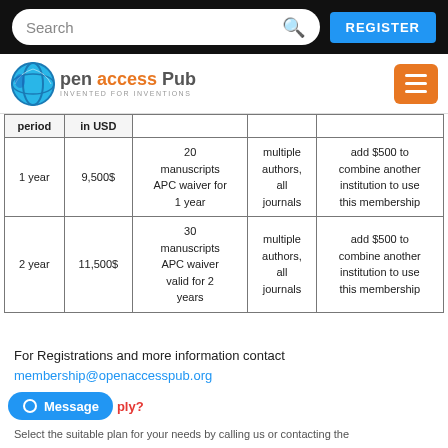Search | REGISTER
[Figure (logo): Open Access Pub logo with globe icon]
| period | in USD |  |  |  |
| --- | --- | --- | --- | --- |
| 1 year | 9,500$ | 20 manuscripts APC waiver for 1 year | multiple authors, all journals | add $500 to combine another institution to use this membership |
| 2 year | 11,500$ | 30 manuscripts APC waiver valid for 2 years | multiple authors, all journals | add $500 to combine another institution to use this membership |
For Registrations and more information contact
membership@openaccesspub.org
Message  ply?
Select the suitable plan for your needs by calling us or contacting the